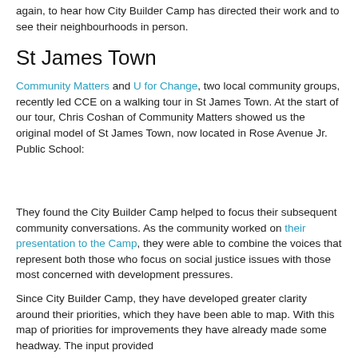again, to hear how City Builder Camp has directed their work and to see their neighbourhoods in person.
St James Town
Community Matters and U for Change, two local community groups, recently led CCE on a walking tour in St James Town. At the start of our tour, Chris Coshan of Community Matters showed us the original model of St James Town, now located in Rose Avenue Jr. Public School:
[Figure (photo): Placeholder space for a photo related to St James Town walking tour]
They found the City Builder Camp helped to focus their subsequent community conversations. As the community worked on their presentation to the Camp, they were able to combine the voices that represent both those who focus on social justice issues with those most concerned with development pressures.
Since City Builder Camp, they have developed greater clarity around their priorities, which they have been able to map. With this map of priorities for improvements they have already made some headway. The input provided